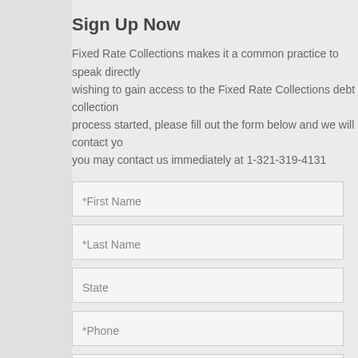Sign Up Now
Fixed Rate Collections makes it a common practice to speak directly wishing to gain access to the Fixed Rate Collections debt collection process started, please fill out the form below and we will contact yo you may contact us immediately at 1-321-319-4131
*First Name
*Last Name
State
*Phone
*Email
Company
How many accounts a month do you typically subm